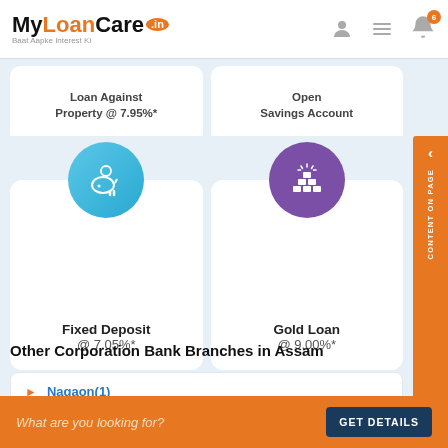[Figure (logo): MyLoanCare.in logo with tagline Baat Aapke Interest Ki]
Loan Against Property @ 7.95%*
Open Savings Account
[Figure (illustration): Piggy bank icon in teal/blue circle for Fixed Deposit]
Fixed Deposit @ 7.05%*
[Figure (illustration): Gold bars icon in purple circle for Gold Loan]
Gold Loan @ 9.00%*
Other Corporation Bank Branches in Assam
Nagaon(1)
Dhubri(1)
What are you looking for?
GET DETAILS